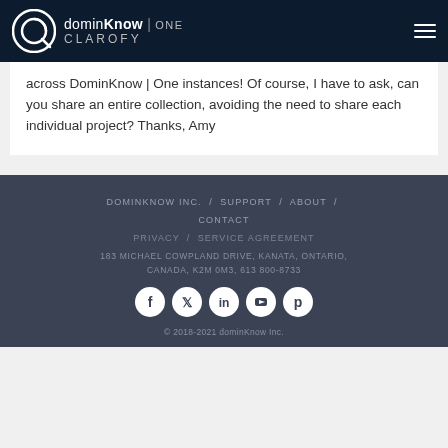dominKnow | ONE CLAROFY
across DominKnow | One instances!  Of course, I have to ask, can you share an entire collection, avoiding the need to share each individual project? Thanks, Amy
DOMINKNOW INC. / SUPPORT / ABOUT / CONTACT
PRIVACY / SERVICE AGREEMENT
183 MICHAEL COWPLAND DRIVE, KANATA, ONTARIO, CANADA, K2M 0M3, 613 800-8733
© 2018-2021 dominKnow Inc.